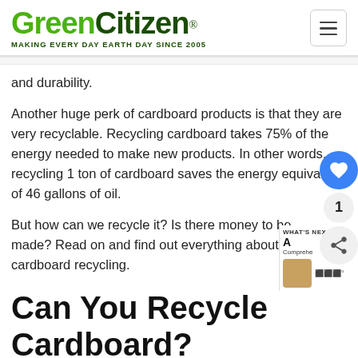GreenCitizen® MAKING EVERY DAY EARTH DAY SINCE 2005
and durability.
Another huge perk of cardboard products is that they are very recyclable. Recycling cardboard takes 75% of the energy needed to make new products. In other words, recycling 1 ton of cardboard saves the energy equivalent of 46 gallons of oil.
But how can we recycle it? Is there money to be made? Read on and find out everything about cardboard recycling.
Can You Recycle Cardboard?